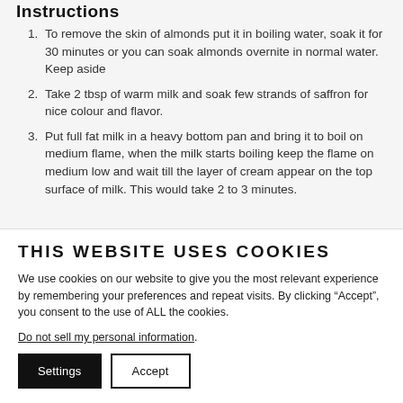Instructions
To remove the skin of almonds put it in boiling water, soak it for 30 minutes or you can soak almonds overnite in normal water. Keep aside
Take 2 tbsp of warm milk and soak few strands of saffron for nice colour and flavor.
Put full fat milk in a heavy bottom pan and bring it to boil on medium flame, when the milk starts boiling keep the flame on medium low and wait till the layer of cream appear on the top surface of milk. This would take 2 to 3 minutes.
THIS WEBSITE USES COOKIES
We use cookies on our website to give you the most relevant experience by remembering your preferences and repeat visits. By clicking “Accept”, you consent to the use of ALL the cookies.
Do not sell my personal information.
Settings  Accept